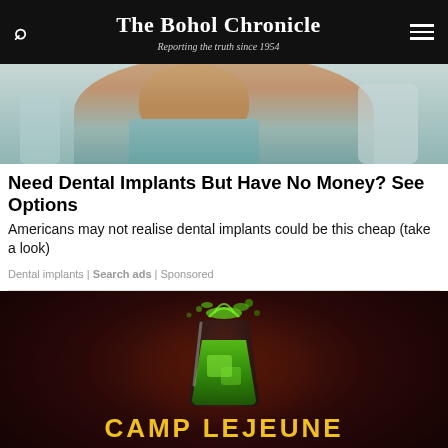The Bohol Chronicle — Reporting the truth since 1954
[Figure (photo): Close-up photo of a woman at a dental clinic, wearing a dental bib, with teal/green dental equipment visible in the background.]
Need Dental Implants But Have No Money? See Options
Americans may not realise dental implants could be this cheap (take a look)
Dental implants | Search ads | Sponsored
[Figure (photo): Advertisement for Camp Lejeune Free Case Review. Dark red/black background with a green glowing glass of liquid splashing. Text reads: CAMP LEJEUNE — FREE CASE REVIEW.]